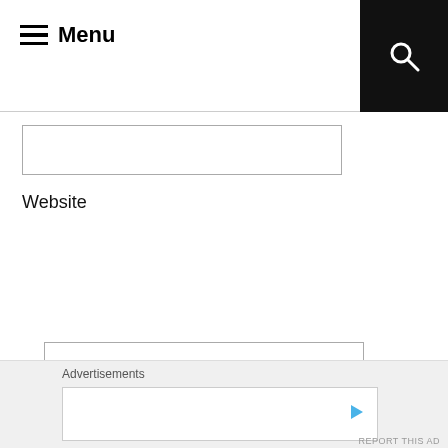Menu
Website
POST COMMENT
Notify me of new comments via email.
Notify me of new posts via email.
Advertisements
REPORT THIS AD